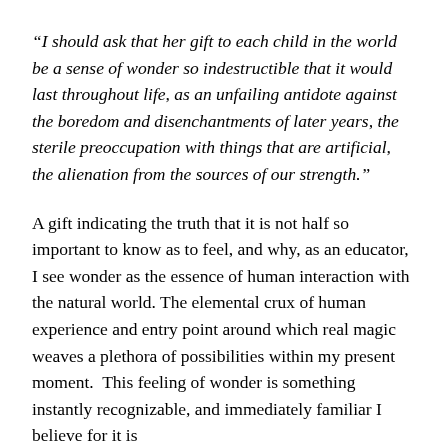“I should ask that her gift to each child in the world be a sense of wonder so indestructible that it would last throughout life, as an unfailing antidote against the boredom and disenchantments of later years, the sterile preoccupation with things that are artificial, the alienation from the sources of our strength.”
A gift indicating the truth that it is not half so important to know as to feel, and why, as an educator, I see wonder as the essence of human interaction with the natural world. The elemental crux of human experience and entry point around which real magic weaves a plethora of possibilities within my present moment. This feeling of wonder is something instantly recognizable, and immediately familiar I believe for it is